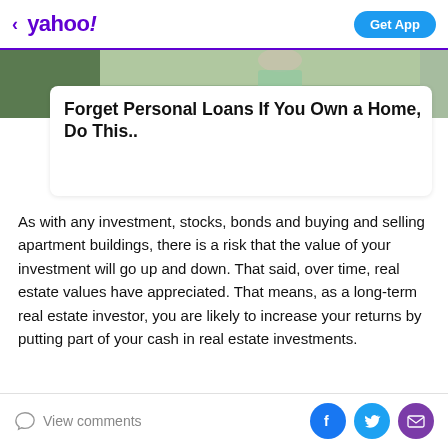< yahoo! | Get App
[Figure (photo): Partial view of a person in a light green dress outdoors near bushes]
Forget Personal Loans If You Own a Home, Do This..
As with any investment, stocks, bonds and buying and selling apartment buildings, there is a risk that the value of your investment will go up and down. That said, over time, real estate values have appreciated. That means, as a long-term real estate investor, you are likely to increase your returns by putting part of your cash in real estate investments.
View comments